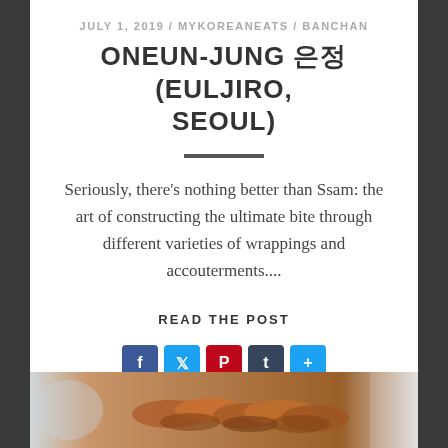JULY 1, 2019 / MYKOREANEATS / BANCHAN
ONEUN-JUNG 은정 (EULJIRO, SEOUL)
Seriously, there's nothing better than Ssam: the art of constructing the ultimate bite through different varieties of wrappings and accouterments....
READ THE POST
[Figure (other): Social share icons: Facebook, Twitter, Pinterest, Tumblr, Share]
[Figure (photo): Photo of grilled meat slices (likely pork belly) on a plate, with a white bowl visible on the left side]